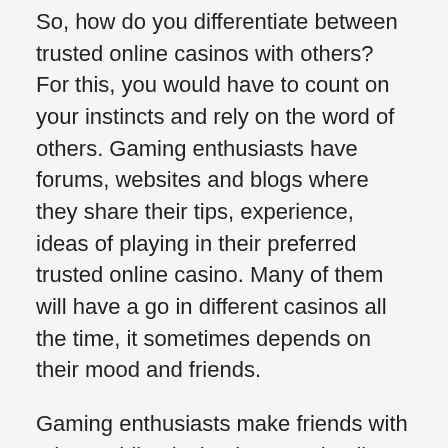So, how do you differentiate between trusted online casinos with others? For this, you would have to count on your instincts and rely on the word of others. Gaming enthusiasts have forums, websites and blogs where they share their tips, experience, ideas of playing in their preferred trusted online casino. Many of them will have a go in different casinos all the time, it sometimes depends on their mood and friends.
Gaming enthusiasts make friends with others while playing in trusted online casino and it branches out into friendship. So, they will actually make plans to meet in the trusted online casino to play the casino games with each other. It makes their games much more exciting this way – the same way people meet up on Facebook to play the online poker application.
Give them a call if you are not comfortable with the